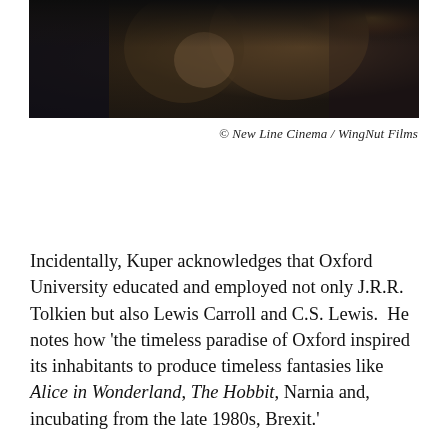[Figure (photo): Film still from a fantasy/medieval scene showing characters in dark period costume, candlelight visible at right edge]
© New Line Cinema / WingNut Films
Incidentally, Kuper acknowledges that Oxford University educated and employed not only J.R.R. Tolkien but also Lewis Carroll and C.S. Lewis.  He notes how 'the timeless paradise of Oxford inspired its inhabitants to produce timeless fantasies like Alice in Wonderland, The Hobbit, Narnia and, incubating from the late 1980s, Brexit.'